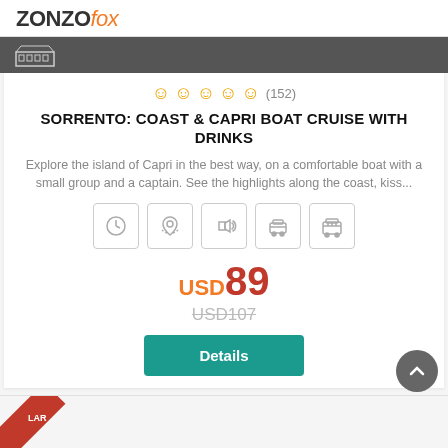ZONZO fox
[Figure (illustration): Dark header banner with a building/columns icon on dark background]
☺ ☺ ☺ ☺ ☺ (152)
SORRENTO: COAST & CAPRI BOAT CRUISE WITH DRINKS
Explore the island of Capri in the best way, on a comfortable boat with a small group and a captain. See the highlights along the coast, kiss...
[Figure (infographic): Five icon boxes in a row: clock, map pin/person, audio/sound, taxi/car, bus]
USD89
USD107
Details